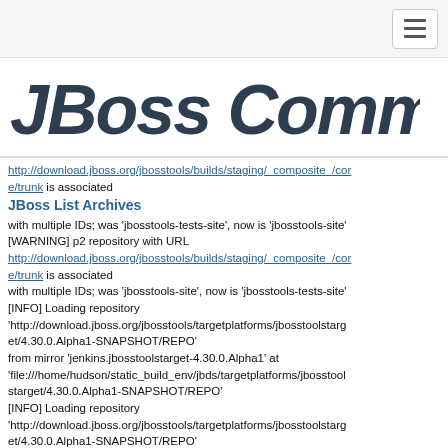[hamburger menu button]
[Figure (logo): JBoss Community logo text in large bold italic font]
http://download.jboss.org/jbosstools/builds/staging/_composite_/core/trunk is associated
JBoss List Archives
with multiple IDs; was 'jbosstools-tests-site', now is 'jbosstools-site'
[WARNING] p2 repository with URL
http://download.jboss.org/jbosstools/builds/staging/_composite_/core/trunk is associated
with multiple IDs; was 'jbosstools-site', now is 'jbosstools-tests-site'
[INFO] Loading repository
'http://download.jboss.org/jbosstools/targetplatforms/jbosstoolstarget/4.30.0.Alpha1-SNAPSHOT/REPO'
from mirror 'jenkins.jbosstoolstarget-4.30.0.Alpha1' at
'file:///home/hudson/static_build_env/jbds/targetplatforms/jbosstoolstarget/4.30.0.Alpha1-SNAPSHOT/REPO'
[INFO] Loading repository
'http://download.jboss.org/jbosstools/targetplatforms/jbosstoolstarget/4.30.0.Alpha1-SNAPSHOT/REPO'
from mirror 'jenkins.jbosstoolstarget-4.30.0.Alpha1' at
'file:///home/hudson/static_build_env/jbds/targetplatforms/jbosstool